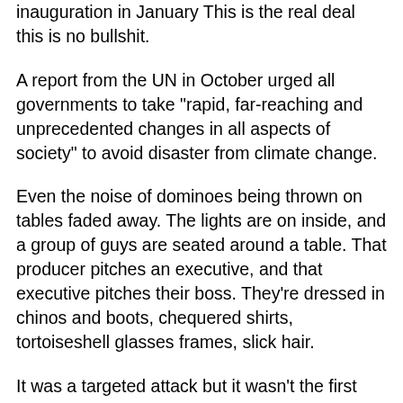inauguration in January This is the real deal this is no bullshit.
A report from the UN in October urged all governments to take "rapid, far-reaching and unprecedented changes in all aspects of society" to avoid disaster from climate change.
Even the noise of dominoes being thrown on tables faded away. The lights are on inside, and a group of guys are seated around a table. That producer pitches an executive, and that executive pitches their boss. They're dressed in chinos and boots, chequered shirts, tortoiseshell glasses frames, slick hair.
It was a targeted attack but it wasn't the first racist attack that Mike Kelly had received. Are you here ABC. What vision do they have for this country. What About Other Age Groups. Membership to Antipodean Resistance is restricted to young people in their teens and twenties and